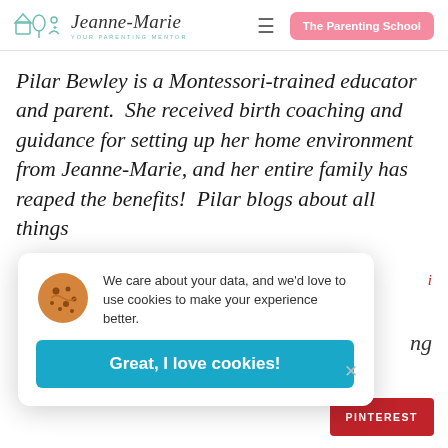Jeanne-Marie Your Parenting Mentor | The Parenting School
Pilar Bewley is a Montessori-trained educator and parent.  She received birth coaching and guidance for setting up her home environment from Jeanne-Marie, and her entire family has reaped the benefits!  Pilar blogs about all things
[Figure (screenshot): Cookie consent popup with cookie emoji icon, text 'We care about your data, and we'd love to use cookies to make your experience better.' and a blue 'Great, I love cookies!' button with a close X]
PINTEREST